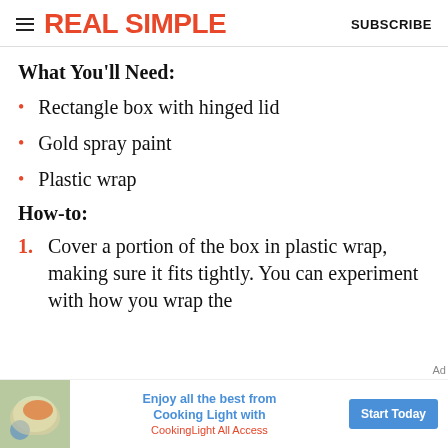REAL SIMPLE | SUBSCRIBE
What You'll Need:
Rectangle box with hinged lid
Gold spray paint
Plastic wrap
How-to:
Cover a portion of the box in plastic wrap, making sure it fits tightly. You can experiment with how you wrap the
[Figure (infographic): Advertisement banner for Cooking Light All Access subscription with food image, text 'Enjoy all the best from Cooking Light with CookingLight All Access' and a 'Start Today' button.]